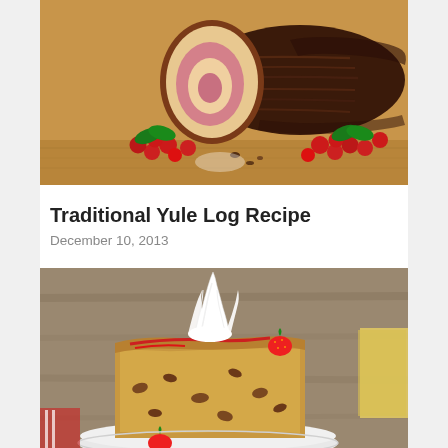[Figure (photo): A chocolate yule log cake (bûche de Noël) sliced open revealing a pink and cream swirl interior, decorated with red cranberries and green holly leaves on a wooden cutting board.]
Traditional Yule Log Recipe
December 10, 2013
[Figure (photo): A slice of cake on a white plate topped with whipped cream and a strawberry, with a golden-brown crumb texture and pecan pieces, on a rustic wooden background.]